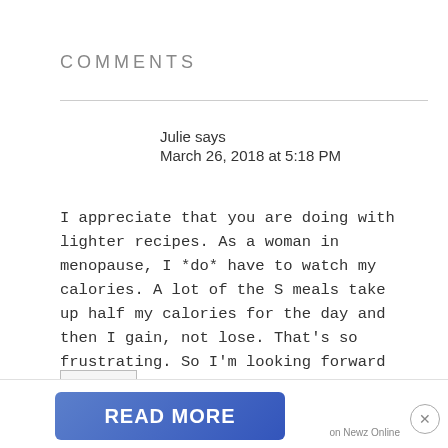COMMENTS
Julie says
March 26, 2018 at 5:18 PM
I appreciate that you are doing with lighter recipes. As a woman in menopause, I *do* have to watch my calories. A lot of the S meals take up half my calories for the day and then I gain, not lose. That's so frustrating. So I'm looking forward to lighter recipes.
REPLY
READ MORE
on Newz Online